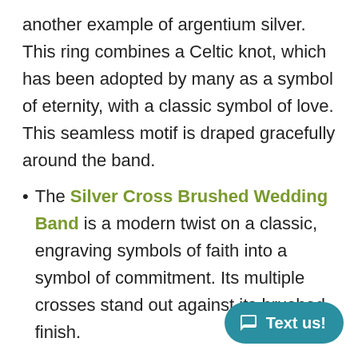another example of argentium silver. This ring combines a Celtic knot, which has been adopted by many as a symbol of eternity, with a classic symbol of love. This seamless motif is draped gracefully around the band.
The Silver Cross Brushed Wedding Band is a modern twist on a classic, engraving symbols of faith into a symbol of commitment. Its multiple crosses stand out against its brushed finish.
The durability and enduring shine of argentium silver make it an ideal medium for jewelry that’s meant to last. Silver wedding bands made of this metal will continue to shine ann...